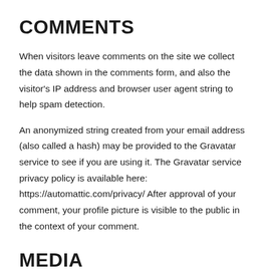COMMENTS
When visitors leave comments on the site we collect the data shown in the comments form, and also the visitor's IP address and browser user agent string to help spam detection.
An anonymized string created from your email address (also called a hash) may be provided to the Gravatar service to see if you are using it. The Gravatar service privacy policy is available here: https://automattic.com/privacy/ After approval of your comment, your profile picture is visible to the public in the context of your comment.
MEDIA